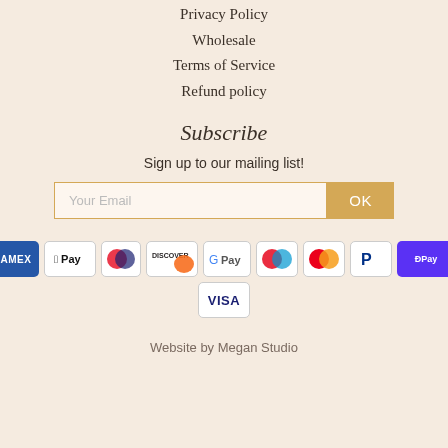Privacy Policy
Wholesale
Terms of Service
Refund policy
Subscribe
Sign up to our mailing list!
[Figure (other): Email subscription form with 'Your Email' input field and OK button]
[Figure (other): Payment method icons: AMEX, Apple Pay, Diners Club, Discover, Google Pay, Maestro, Mastercard, PayPal, ShopPay, Visa]
Website by Megan Studio